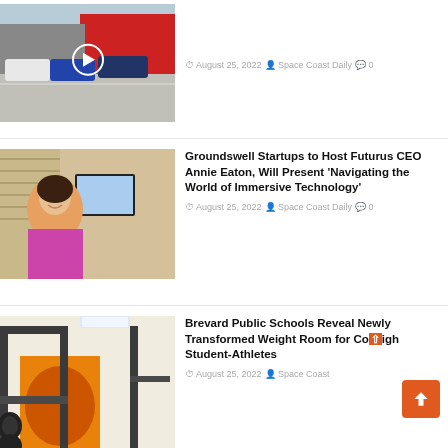[Figure (photo): Car dealership exterior with vehicles parked in lot, play button overlay visible]
August 25, 2022   Space Coast Daily   0
[Figure (photo): Woman in pink blazer sitting at desk with computer, smiling and holding glasses]
Groundswell Startups to Host Futurus CEO Annie Eaton, Will Present ‘Navigating the World of Immersive Technology’
August 25, 2022   Space Coast Daily   0
[Figure (photo): School weight room with gym equipment, orange mural visible in background]
Brevard Public Schools Reveal Newly Transformed Weight Room for Cocoa High Student-Athletes
August 25, 2022   Space Coast